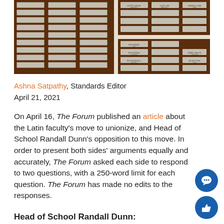[Figure (photo): Photo of a wall displaying multiple dark wooden plaque boards with silver name plates mounted on a light-colored wall.]
Ashna Satpathy, Standards Editor
April 21, 2021
On April 16, The Forum published an article about the Latin faculty's move to unionize, and Head of School Randall Dunn's opposition to this move. In order to present both sides' arguments equally and accurately, The Forum asked each side to respond to two questions, with a 250-word limit for each question. The Forum has made no edits to the responses.
Head of School Randall Dunn: